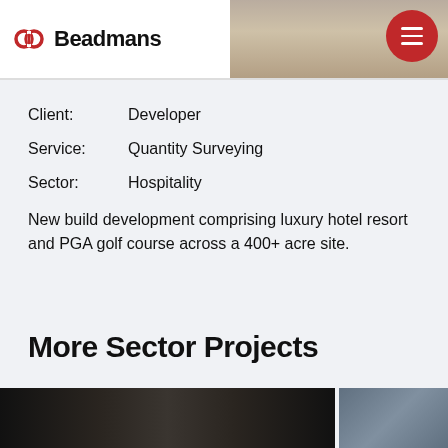Beadmans
Client:   Developer
Service:  Quantity Surveying
Sector:   Hospitality
New build development comprising luxury hotel resort and PGA golf course across a 400+ acre site.
More Sector Projects
[Figure (photo): Photo of interior dark building structure]
[Figure (photo): Photo of another project, partially visible]